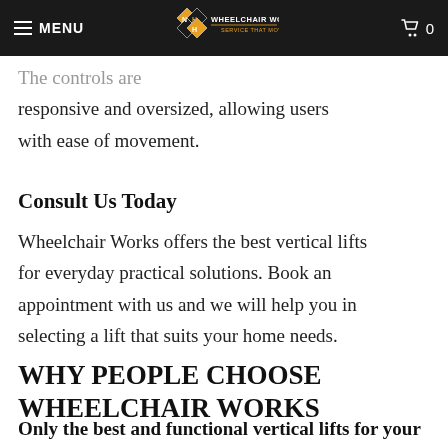MENU | WHEELCHAIR WORKS | 0
The controls are responsive and oversized, allowing users with ease of movement.
Consult Us Today
Wheelchair Works offers the best vertical lifts for everyday practical solutions. Book an appointment with us and we will help you in selecting a lift that suits your home needs.
WHY PEOPLE CHOOSE WHEELCHAIR WORKS
Only the best and functional vertical lifts for your home
Wheelchair Works and its staff stays up to